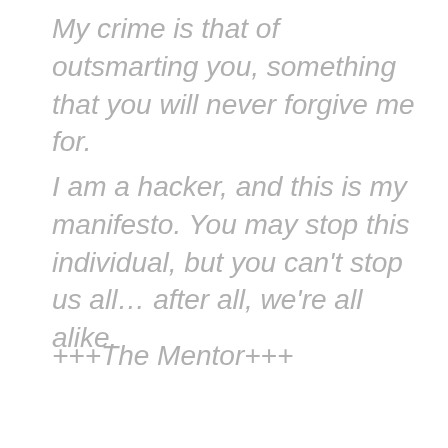My crime is that of outsmarting you, something that you will never forgive me for.
I am a hacker, and this is my manifesto. You may stop this individual, but you can't stop us all… after all, we're all alike.
+++The Mentor+++
Leave a comment